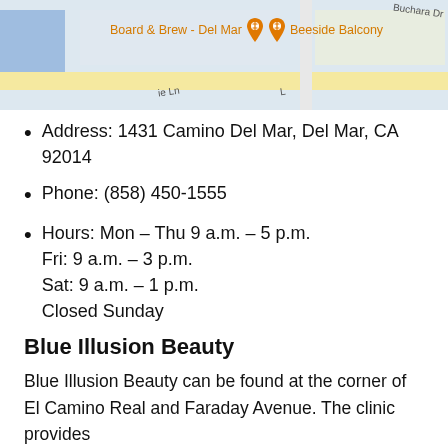[Figure (map): Google Maps screenshot showing the area around Board & Brew - Del Mar and Beeside Balcony restaurants, with street labels and map blocks visible.]
Address: 1431 Camino Del Mar, Del Mar, CA 92014
Phone: (858) 450-1555
Hours: Mon – Thu 9 a.m. – 5 p.m.
Fri: 9 a.m. – 3 p.m.
Sat: 9 a.m. – 1 p.m.
Closed Sunday
Blue Illusion Beauty
Blue Illusion Beauty can be found at the corner of El Camino Real and Faraday Avenue. The clinic provides